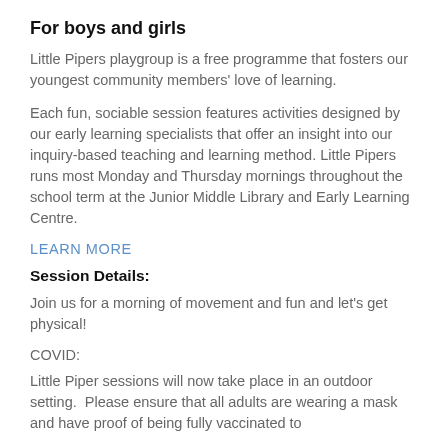For boys and girls
Little Pipers playgroup is a free programme that fosters our youngest community members' love of learning.
Each fun, sociable session features activities designed by our early learning specialists that offer an insight into our inquiry-based teaching and learning method. Little Pipers runs most Monday and Thursday mornings throughout the school term at the Junior Middle Library and Early Learning Centre.
LEARN MORE
Session Details:
Join us for a morning of movement and fun and let's get physical!
COVID:
Little Piper sessions will now take place in an outdoor setting.  Please ensure that all adults are wearing a mask and have proof of being fully vaccinated to